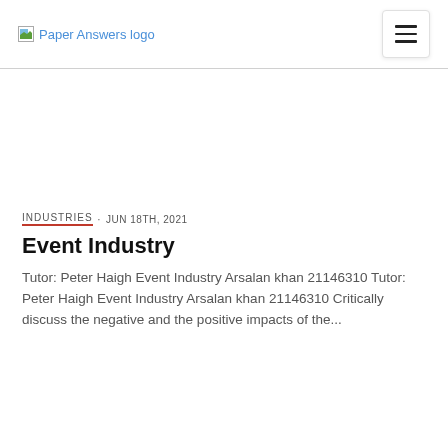Paper Answers logo
[Figure (other): Advertisement / blank space placeholder]
INDUSTRIES · JUN 18TH, 2021
Event Industry
Tutor: Peter Haigh Event Industry Arsalan khan 21146310 Tutor: Peter Haigh Event Industry Arsalan khan 21146310 Critically discuss the negative and the positive impacts of the...